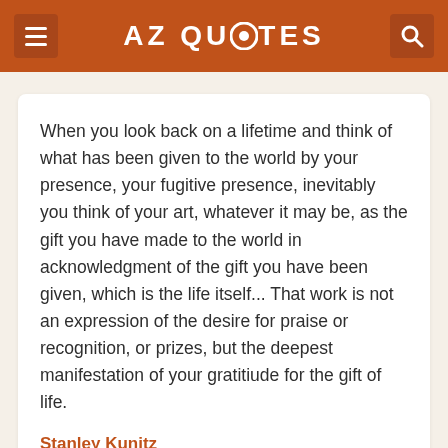AZ QUOTES
When you look back on a lifetime and think of what has been given to the world by your presence, your fugitive presence, inevitably you think of your art, whatever it may be, as the gift you have made to the world in acknowledgment of the gift you have been given, which is the life itself... That work is not an expression of the desire for praise or recognition, or prizes, but the deepest manifestation of your gratitiude for the gift of life.
Stanley Kunitz